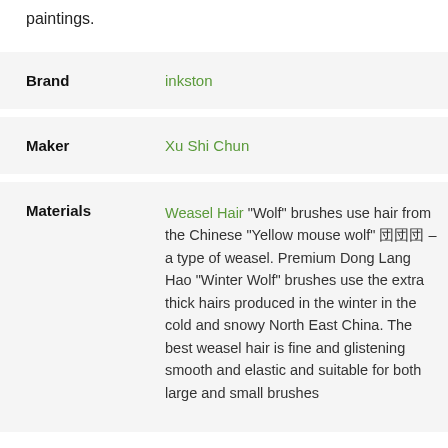paintings.
| Attribute | Value |
| --- | --- |
| Brand | inkston |
| Maker | Xu Shi Chun |
| Materials | Weasel Hair “Wolf” brushes use hair from the Chinese “Yellow mouse wolf” 団団団 – a type of weasel. Premium Dong Lang Hao “Winter Wolf” brushes use the extra thick hairs produced in the winter in the cold and snowy North East China. The best weasel hair is fine and glistening smooth and elastic and suitable for both large and small brushes |